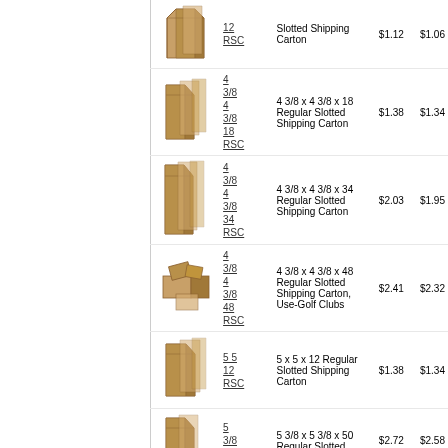| Image | Code | Description | Price1 | Price2 |
| --- | --- | --- | --- | --- |
| [box image] | 12
RSC | Slotted Shipping Carton | $1.12 | $1.06 |
| [box image] | 4 3/8
4
3/8
18
RSC | 4 3/8 x 4 3/8 x 18 Regular Slotted Shipping Carton | $1.38 | $1.34 |
| [box image] | 4
3/8
4
3/8
34
RSC | 4 3/8 x 4 3/8 x 34 Regular Slotted Shipping Carton | $2.03 | $1.95 |
| [box image] | 4
3/8
4
3/8
48
RSC | 4 3/8 x 4 3/8 x 48 Regular Slotted Shipping Carton, Use-Golf Clubs | $2.41 | $2.32 |
| [box image] | 5 5
12
RSC | 5 x 5 x 12 Regular Slotted Shipping Carton | $1.38 | $1.34 |
| [box image] | 5
3/8
5 | 5 3/8 x 5 3/8 x 50 Regular Slotted | $2.72 | $2.58 |